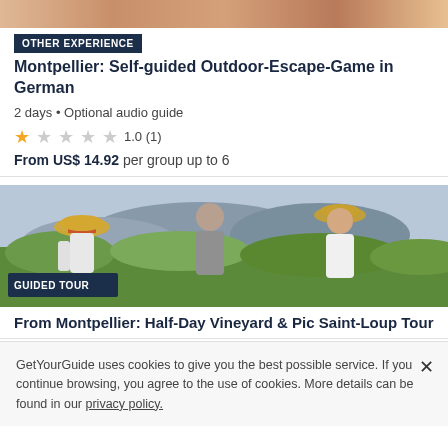[Figure (photo): Partial top image of a travel/outdoor experience, cropped at top]
OTHER EXPERIENCE
Montpellier: Self-guided Outdoor-Escape-Game in German
2 days • Optional audio guide
1.0 (1)
From US$ 14.92 per group up to 6
[Figure (photo): Photo of three people looking at a landscape with mountains and green vegetation. A guide tour photo for Montpellier Half-Day Vineyard & Pic Saint-Loup Tour.]
GUIDED TOUR
From Montpellier: Half-Day Vineyard & Pic Saint-Loup Tour
GetYourGuide uses cookies to give you the best possible service. If you continue browsing, you agree to the use of cookies. More details can be found in our privacy policy.